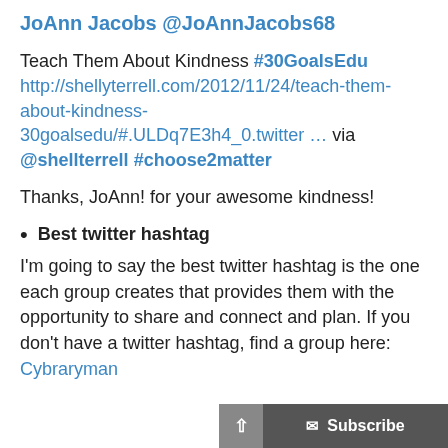JoAnn Jacobs @JoAnnJacobs68
Teach Them About Kindness #30GoalsEdu http://shellyterrell.com/2012/11/24/teach-them-about-kindness-30goalsedu/#.ULDq7E3h4_0.twitter … via @shellterrell #choose2matter
Thanks, JoAnn! for your awesome kindness!
Best twitter hashtag
I'm going to say the best twitter hashtag is the one each group creates that provides them with the opportunity to share and connect and plan. If you don't have a twitter hashtag, find a group here:  Cybraryman